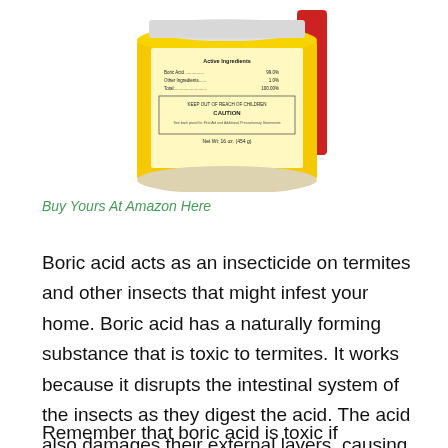[Figure (photo): A yellow cylindrical container of boric acid powder with a red object partially visible behind it. The label shows ingredients: Boric Acid 99.0%, Other Ingredients 1.0%, Total 100.00%. Includes KEEP OUT OF REACH OF CHILDREN, CAUTION text, and Net Wt: 16 oz. (454 g).]
Buy Yours At Amazon Here
Boric acid acts as an insecticide on termites and other insects that might infest your home. Boric acid has a naturally forming substance that is toxic to termites. It works because it disrupts the intestinal system of the insects as they digest the acid. The acid also damages their external layers, causing them to dehydrate and die. Homeowners can use boric acid against cockroaches, termites, ants, and other bothersome pests.
Remember that boric acid is toxic if ingested. Make